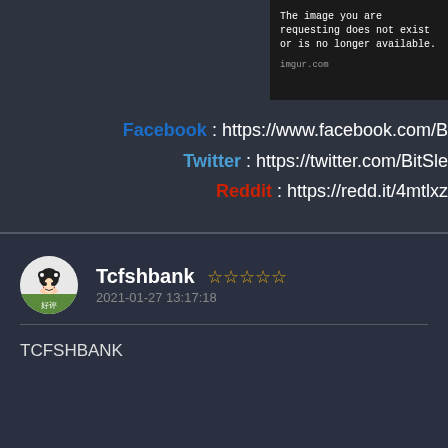[Figure (screenshot): Imgur placeholder image box with text: 'The image you are requesting does not exist or is no longer available.' and source 'imgur.com']
Facebook : https://www.facebook.com/B
Twitter : https://twitter.com/BitSle
Reddit : https://redd.it/4mtlxz
[Figure (screenshot): User review: Tcfshbank with 0 stars, dated 2021-01-27 13:17:18, text: TCFSHBANK]